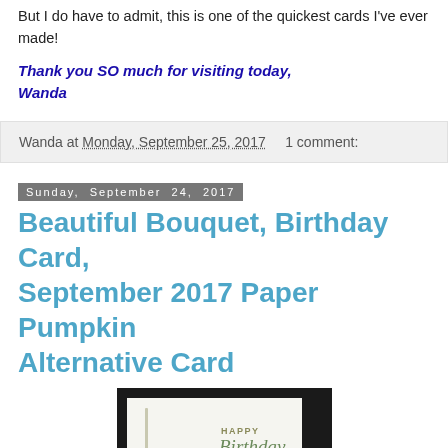But I do have to admit, this is one of the quickest cards I've ever made!
Thank you SO much for visiting today,
Wanda
Wanda at Monday, September 25, 2017    1 comment:
Sunday, September 24, 2017
Beautiful Bouquet, Birthday Card, September 2017 Paper Pumpkin Alternative Card
[Figure (photo): A birthday card showing 'HAPPY Birthday' text on a light cream background, mounted on a dark frame, with a pencil visible on the left side.]